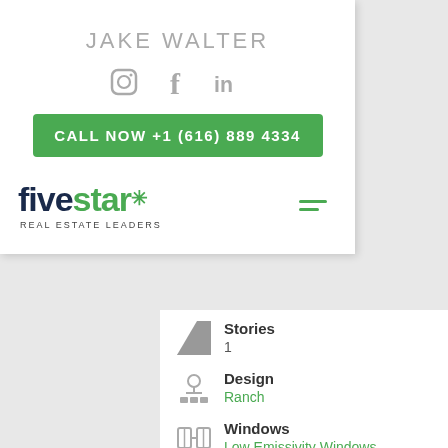JAKE WALTER
[Figure (illustration): Social media icons: Instagram, Facebook, LinkedIn]
CALL NOW +1 (616) 889 4334
[Figure (logo): Five Star Real Estate Leaders logo with hamburger menu icon]
Stories: 1
Design: Ranch
Windows: Low Emissivity Windows
Air Conditioning